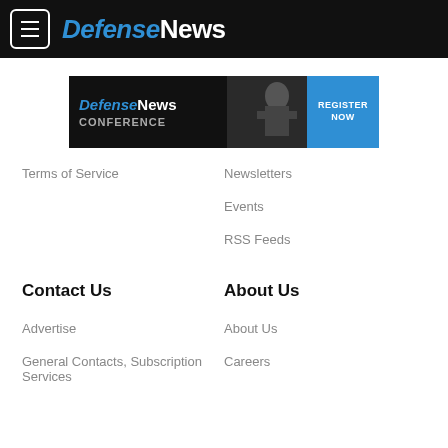DefenseNews
[Figure (other): DefenseNews Conference banner ad with soldier silhouette and REGISTER NOW button]
Terms of Service
Newsletters
Events
RSS Feeds
Contact Us
About Us
Advertise
About Us
General Contacts, Subscription Services
Careers